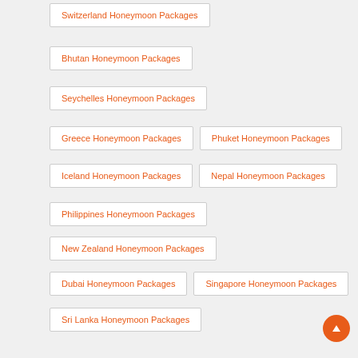Switzerland Honeymoon Packages
Bhutan Honeymoon Packages
Seychelles Honeymoon Packages
Greece Honeymoon Packages
Phuket Honeymoon Packages
Iceland Honeymoon Packages
Nepal Honeymoon Packages
Philippines Honeymoon Packages
New Zealand Honeymoon Packages
Dubai Honeymoon Packages
Singapore Honeymoon Packages
Sri Lanka Honeymoon Packages
Bangkok Honeymoon Packages
Paris Honeymoon Packages
Amsterdam Honeymoon Packages